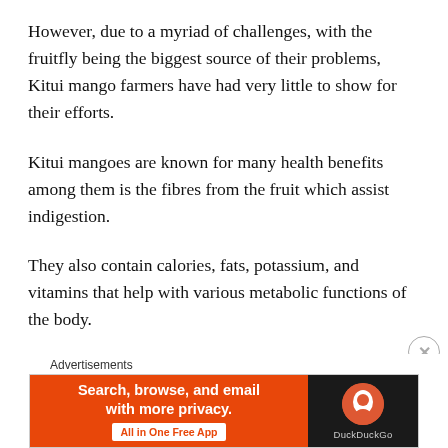However, due to a myriad of challenges, with the fruitfly being the biggest source of their problems, Kitui mango farmers have had very little to show for their efforts.
Kitui mangoes are known for many health benefits among them is the fibres from the fruit which assist indigestion.
They also contain calories, fats, potassium, and vitamins that help with various metabolic functions of the body.
But, with the introduction of the new and, innovative solar-based processing technologies, which ensures that all the important nutrients on the final product are retained, there
Advertisements
[Figure (other): DuckDuckGo advertisement banner: orange left panel with text 'Search, browse, and email with more privacy. All in One Free App' and dark right panel with DuckDuckGo logo]